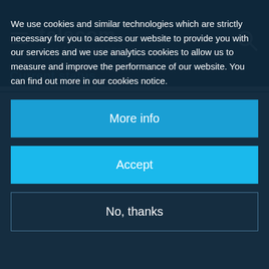capability is tested and demonstrated.
[Figure (logo): Telecom artes 4.0 programme logo with hamburger menu icon and search icon on a dark navy header bar]
Current status
We use cookies and similar technologies which are strictly necessary for you to access our website to provide you with our services and we use analytics cookies to allow us to measure and improve the performance of our website. You can find out more in our cookies notice.
More info
Accept
No, thanks